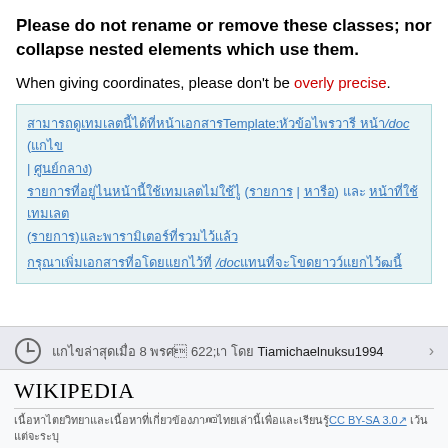Please do not rename or remove these classes; nor collapse nested elements which use them.
When giving coordinates, please don't be overly precise.
[Thai text block with links including /doc reference]
[Clock icon] [Thai text] Tiamichaelnuksu1994 >
Wikipedia [Thai license text] CC BY-SA 3.0 [Thai text]